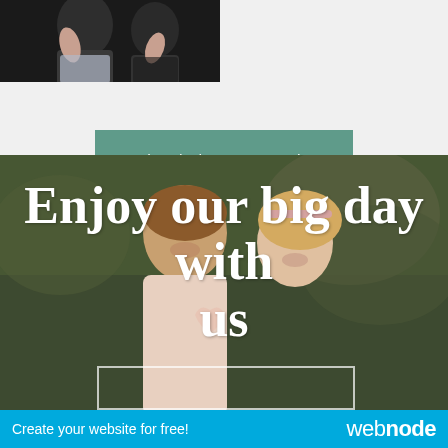[Figure (photo): Partial view of a couple, cropped at top, showing arms and torsos against dark background]
Take a look at our memories
[Figure (photo): A couple smiling and laughing outdoors, making a heart shape with their hands. Text overlay reads 'Enjoy our big day with us']
Enjoy our big day with us
Create your website for free!  webnode